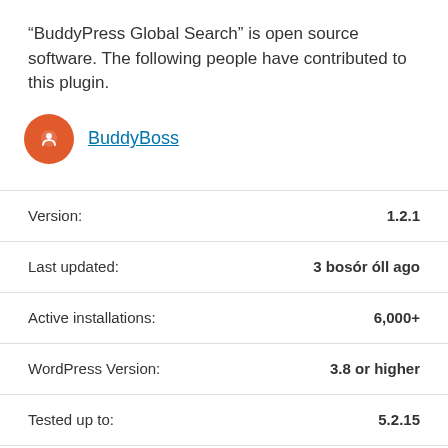“BuddyPress Global Search” is open source software. The following people have contributed to this plugin.
BuddyBoss
| Label | Value |
| --- | --- |
| Version: | 1.2.1 |
| Last updated: | 3 bosór óll ago |
| Active installations: | 6,000+ |
| WordPress Version: | 3.8 or higher |
| Tested up to: | 5.2.15 |
| Language: | English (US) |
| Tags: | activity  buddypress  profiles  search |